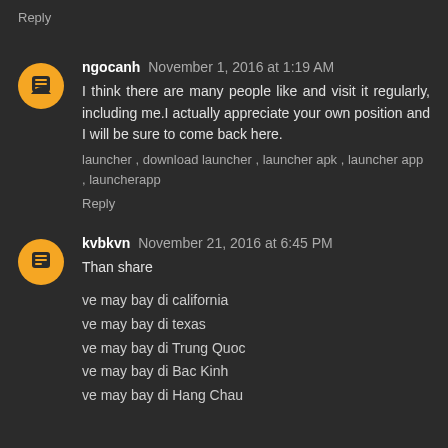Reply
ngocanh November 1, 2016 at 1:19 AM
I think there are many people like and visit it regularly, including me.I actually appreciate your own position and I will be sure to come back here.
launcher , download launcher , launcher apk , launcher app , launcherapp
Reply
kvbkvn November 21, 2016 at 6:45 PM
Than share
ve may bay di california
ve may bay di texas
ve may bay di Trung Quoc
ve may bay di Bac Kinh
ve may bay di Hang Chau